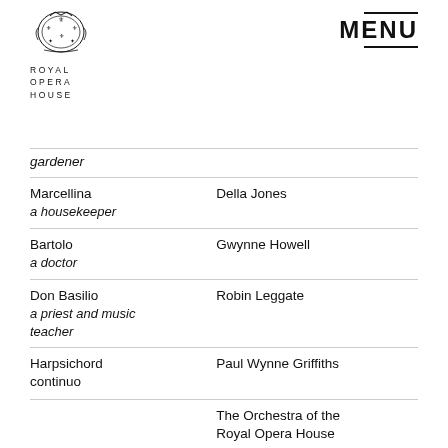[Figure (logo): Royal Opera House coat of arms logo with text ROYAL OPERA HOUSE below]
MENU
| Role | Performer |
| --- | --- |
| gardener (italic, partial) |  |
| Marcellina
a housekeeper | Della Jones |
| Bartolo
a doctor | Gwynne Howell |
| Don Basilio
a priest and music teacher | Robin Leggate |
| Harpsichord continuo | Paul Wynne Griffiths |
|  | The Orchestra of the Royal Opera House |
Language:   Italian